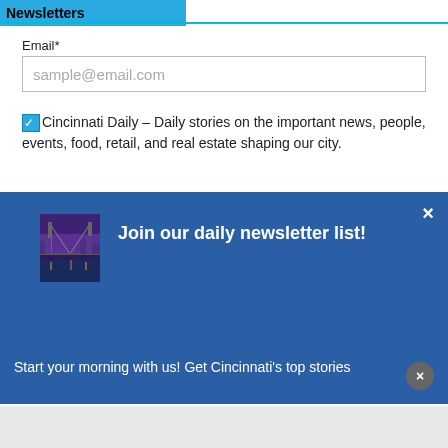Newsletters
Email*
sample@email.com
Cincinnati Daily – Daily stories on the important news, people, events, food, retail, and real estate shaping our city.
Join our daily newsletter list!
Start your morning with us! Get Cincinnati's top stories